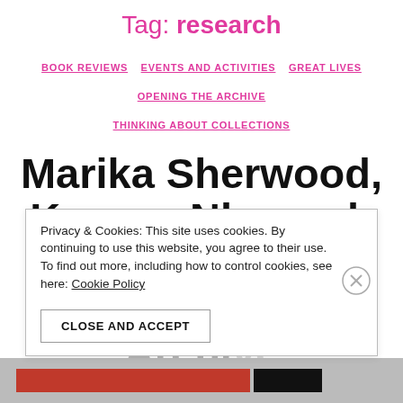Tag: research
BOOK REVIEWS  EVENTS AND ACTIVITIES  GREAT LIVES  OPENING THE ARCHIVE  THINKING ABOUT COLLECTIONS
Marika Sherwood, Kwame Nkrumah and the Pan-African Congress Archive
Privacy & Cookies: This site uses cookies. By continuing to use this website, you agree to their use.
To find out more, including how to control cookies, see here: Cookie Policy
CLOSE AND ACCEPT